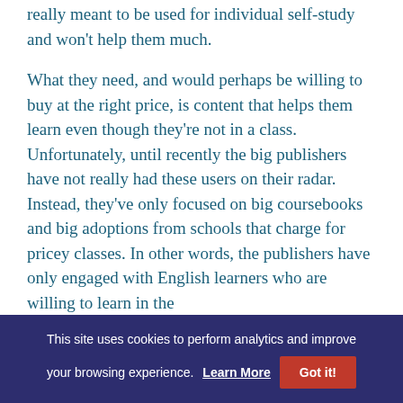really meant to be used for individual self-study and won't help them much.
What they need, and would perhaps be willing to buy at the right price, is content that helps them learn even though they're not in a class. Unfortunately, until recently the big publishers have not really had these users on their radar. Instead, they've only focused on big coursebooks and big adoptions from schools that charge for pricey classes. In other words, the publishers have only engaged with English learners who are willing to learn in the
This site uses cookies to perform analytics and improve your browsing experience. Learn More Got it!